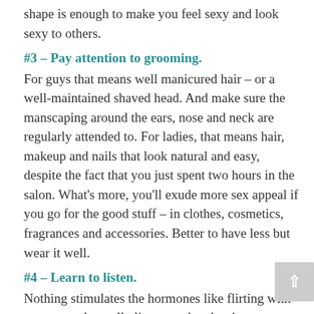shape is enough to make you feel sexy and look sexy to others.
#3 – Pay attention to grooming.
For guys that means well manicured hair – or a well-maintained shaved head. And make sure the manscaping around the ears, nose and neck are regularly attended to. For ladies, that means hair, makeup and nails that look natural and easy, despite the fact that you just spent two hours in the salon. What's more, you'll exude more sex appeal if you go for the good stuff – in clothes, cosmetics, fragrances and accessories. Better to have less but wear it well.
#4 – Learn to listen.
Nothing stimulates the hormones like flirting with someone who really listens and makes intense eye contact. Ask questions and get the object of your flirtatiousness to talk about him- or herself. That way